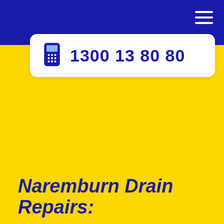Navigation bar with hamburger menu
1300 13 80 80
Naremburn Drain Repairs: